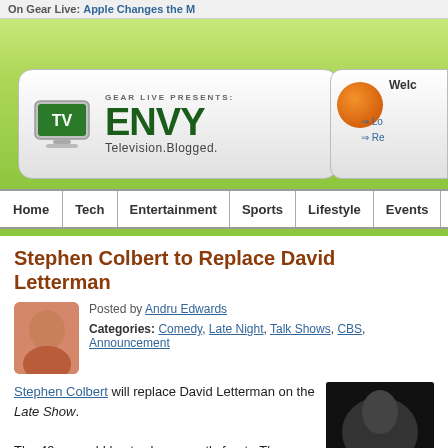On Gear Live: Apple Changes the M
[Figure (logo): Gear Live Presents TV ENVY Television.Blogged. logo banner]
[Figure (other): Welcome widget with orange circle, Lo and Re links]
Home | Tech | Entertainment | Sports | Lifestyle | Events | Pe
Stephen Colbert to Replace David Letterman
Posted by Andru Edwards
Categories: Comedy, Late Night, Talk Shows, CBS, Announcement
Stephen Colbert will replace David Letterman on the Late Show. The 49-year-old host, who currently fronts The Colbert Report, will be taking over from the 66-year-old star on the CBS show when he retires next year.